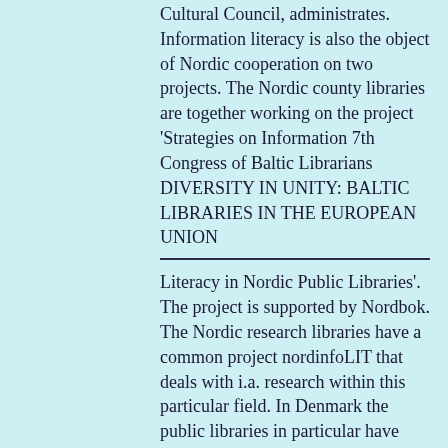Cultural Council, administrates. Information literacy is also the object of Nordic cooperation on two projects. The Nordic county libraries are together working on the project 'Strategies on Information 7th Congress of Baltic Librarians DIVERSITY IN UNITY: BALTIC LIBRARIES IN THE EUROPEAN UNION
Literacy in Nordic Public Libraries'. The project is supported by Nordbok. The Nordic research libraries have a common project nordinfoLIT that deals with i.a. research within this particular field. In Denmark the public libraries in particular have developed a number of net services – net libraries we have started to call them to emphasize that we are talking about library service in a new form. They have typically been created by a small group of large libraries getting together in order to develop an idea and have received financial support from national development means. As the services unfold and extend, more libraries have joined in the running of them. Like for example an ask-a-librarian service, a site for children, one for linguistic minorities, a literature site and a subject-divided guide of quality-assessed pages for the net, just to mention a few. DNLA provides financial support for a number of them via the special superstructure